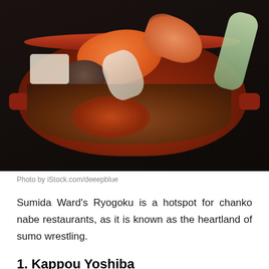[Figure (photo): A Japanese clay pot (donabe) filled with chanko nabe ingredients including salmon, shrimp, mushrooms, tofu, and vegetables on a dark background]
Photo by iStock.com/deeepblue
Sumida Ward's Ryogoku is a hotspot for chanko nabe restaurants, as it is known as the heartland of sumo wrestling.
1. Kappou Yoshiba
Kappou Yoshiba is a former sumo stable, and both